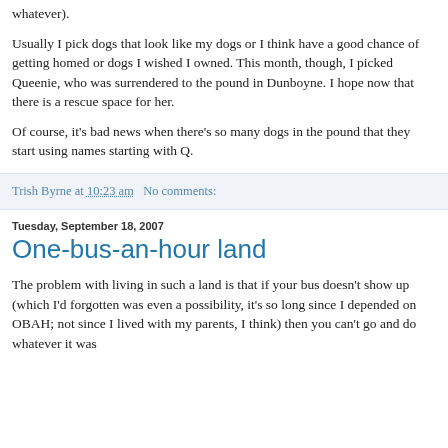whatever).
Usually I pick dogs that look like my dogs or I think have a good chance of getting homed or dogs I wished I owned. This month, though, I picked Queenie, who was surrendered to the pound in Dunboyne. I hope now that there is a rescue space for her.
Of course, it's bad news when there's so many dogs in the pound that they start using names starting with Q.
Trish Byrne at 10:23 am   No comments:
Tuesday, September 18, 2007
One-bus-an-hour land
The problem with living in such a land is that if your bus doesn't show up (which I'd forgotten was even a possibility, it's so long since I depended on OBAH; not since I lived with my parents, I think) then you can't go and do whatever it was